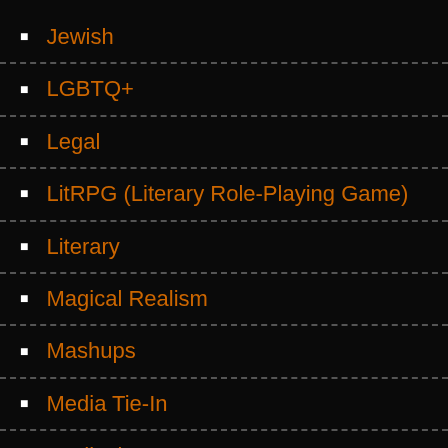Jewish
LGBTQ+
Legal
LitRPG (Literary Role-Playing Game)
Literary
Magical Realism
Mashups
Media Tie-In
Medical